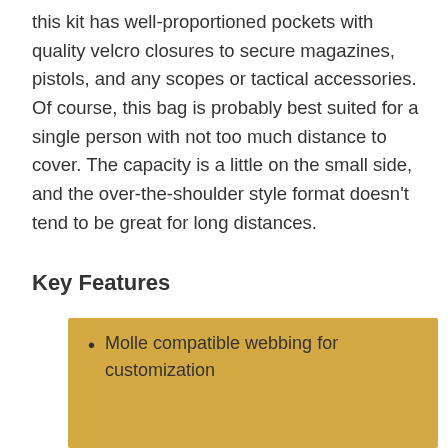this kit has well-proportioned pockets with quality velcro closures to secure magazines, pistols, and any scopes or tactical accessories. Of course, this bag is probably best suited for a single person with not too much distance to cover. The capacity is a little on the small side, and the over-the-shoulder style format doesn't tend to be great for long distances.
Key Features
Molle compatible webbing for customization